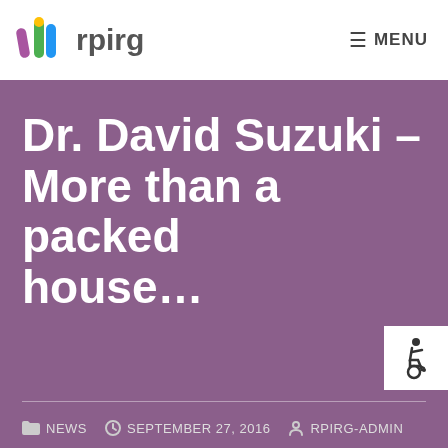rpirg | MENU
Dr. David Suzuki – More than a packed house…
NEWS  SEPTEMBER 27, 2016  RPIRG-ADMIN